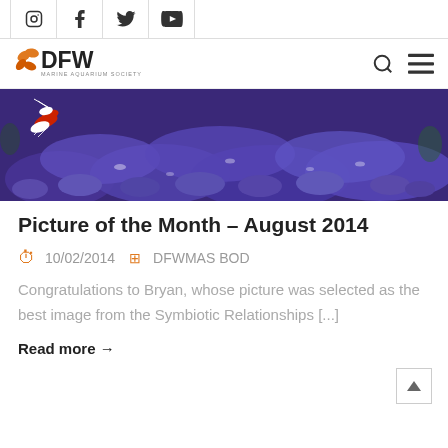Social icons: Instagram, Facebook, Twitter, YouTube
[Figure (logo): DFW Marine Aquarium Society logo with orange fish/leaf icon and DFW text]
[Figure (photo): Underwater photo showing blue/purple marine substrate with a red and white striped shrimp in the upper left corner]
Picture of the Month – August 2014
10/02/2014   DFWMAS BOD
Congratulations to Bryan, whose picture was selected as the best image from the Symbiotic Relationships [...]
Read more →